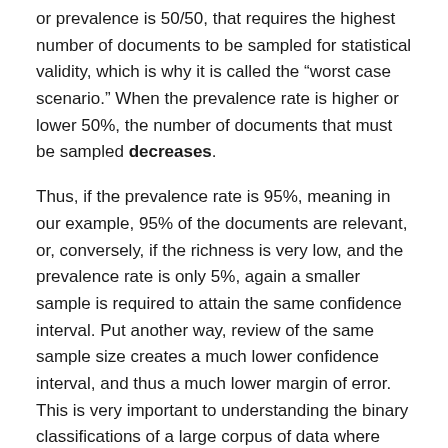or prevalence is 50/50, that requires the highest number of documents to be sampled for statistical validity, which is why it is called the “worst case scenario.” When the prevalence rate is higher or lower 50%, the number of documents that must be sampled decreases.
Thus, if the prevalence rate is 95%, meaning in our example, 95% of the documents are relevant, or, conversely, if the richness is very low, and the prevalence rate is only 5%, again a smaller sample is required to attain the same confidence interval. Put another way, review of the same sample size creates a much lower confidence interval, and thus a much lower margin of error. This is very important to understanding the binary classifications of a large corpus of data where only a small amount of the data is responsive, i.e., are relevant.